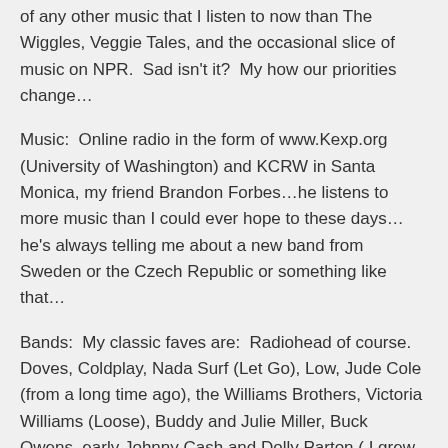of any other music that I listen to now than The Wiggles, Veggie Tales, and the occasional slice of music on NPR.  Sad isn't it?  My how our priorities change…
Music:  Online radio in the form of www.Kexp.org (University of Washington) and KCRW in Santa Monica, my friend Brandon Forbes…he listens to more music than I could ever hope to these days…he's always telling me about a new band from Sweden or the Czech Republic or something like that…
Bands:  My classic faves are:  Radiohead of course. Doves, Coldplay, Nada Surf (Let Go), Low, Jude Cole (from a long time ago), the Williams Brothers, Victoria Williams (Loose), Buddy and Julie Miller, Buck Owens, early Johnny Cash and Dolly Parton ( I grew up on that stuff), Herb Alpert and the Tijuana Brass, okay now I'm starting to ramble. Oh also, The